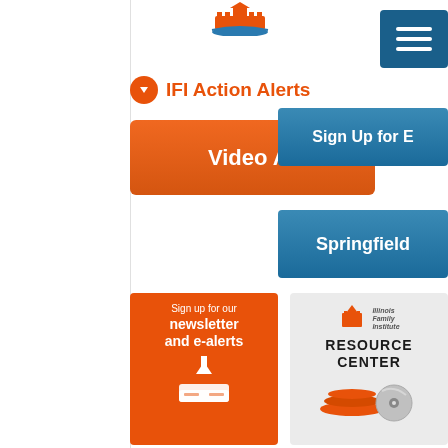[Figure (logo): Illinois Family Institute logo - capitol building with book]
[Figure (screenshot): Dark blue hamburger menu button with three white horizontal lines]
IFI Action Alerts
[Figure (screenshot): Blue button partially visible reading 'Sign Up for E']
[Figure (screenshot): Orange button partially reading 'Video Ar']
[Figure (screenshot): Blue button reading 'Springfield']
[Figure (infographic): Orange box with text 'Sign up for our newsletter and e-alerts' with download/inbox icon]
[Figure (logo): Illinois Family Institute Resource Center logo with stacked books and CD/disc]
[Figure (logo): Laurie's Chinwags logo - partial view of oval orange badge]
[Figure (logo): Illinois Family logo - partial view]